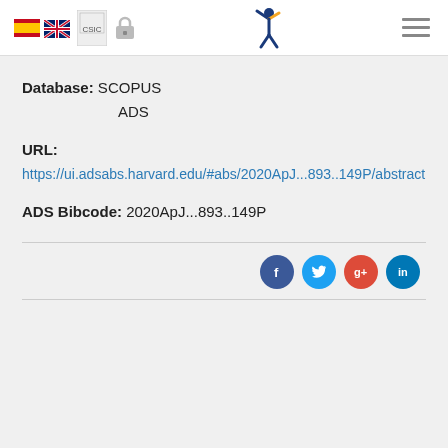Navigation header with flags (ES, UK), CSIC logo, lock icon, HR logo, hamburger menu
Database: SCOPUS
           ADS
URL:
https://ui.adsabs.harvard.edu/#abs/2020ApJ...893..149P/abstract
ADS Bibcode: 2020ApJ...893..149P
[Figure (other): Social media sharing buttons: Facebook, Twitter, Google+, LinkedIn]